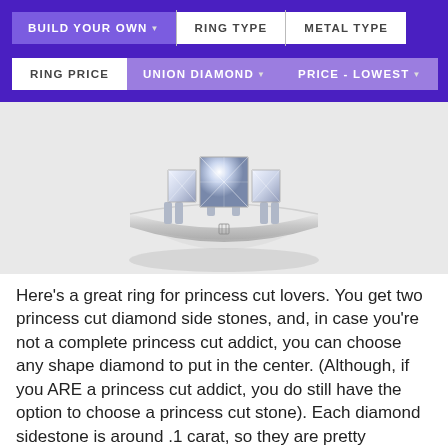BUILD YOUR OWN  RING TYPE  METAL TYPE
RING PRICE  UNION DIAMOND  PRICE - LOWEST
[Figure (photo): A three-stone diamond engagement ring with princess cut side stones on a white/silver band, shown on a light grey background with a subtle reflection below.]
Here's a great ring for princess cut lovers. You get two princess cut diamond side stones, and, in case you're not a complete princess cut addict, you can choose any shape diamond to put in the center. (Although, if you ARE a princess cut addict, you do still have the option to choose a princess cut stone). Each diamond sidestone is around .1 carat, so they are pretty